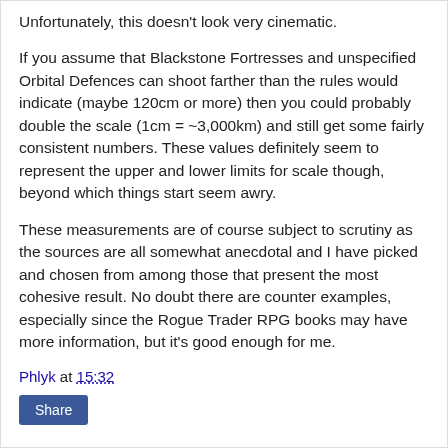Unfortunately, this doesn't look very cinematic.
If you assume that Blackstone Fortresses and unspecified Orbital Defences can shoot farther than the rules would indicate (maybe 120cm or more) then you could probably double the scale (1cm = ~3,000km) and still get some fairly consistent numbers. These values definitely seem to represent the upper and lower limits for scale though, beyond which things start seem awry.
These measurements are of course subject to scrutiny as the sources are all somewhat anecdotal and I have picked and chosen from among those that present the most cohesive result. No doubt there are counter examples, especially since the Rogue Trader RPG books may have more information, but it's good enough for me.
Phlyk at 15:32
Share
1 comment: